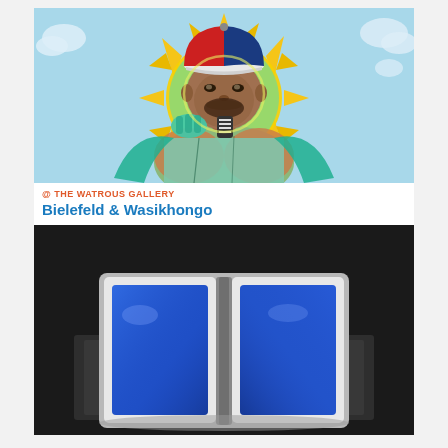[Figure (illustration): Colorful painting of a muscular man with a red and blue cap, seated in front of a bright yellow sunburst and teal background with clouds. The figure wears a green-tinted shirt and the style is vivid and graphic.]
@ THE WATROUS GALLERY
Bielefeld & Wasikhongo
[Figure (photo): Dark photograph of an open book or book-shaped sculpture with bright blue pages, white border, resting on a dark surface.]